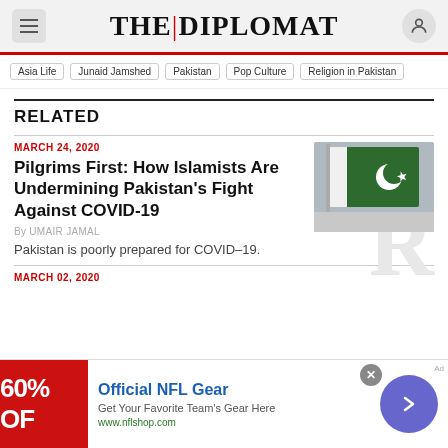THE DIPLOMAT
Asia Life
Junaid Jamshed
Pakistan
Pop Culture
Religion in Pakistan
RELATED
MARCH 24, 2020
Pilgrims First: How Islamists Are Undermining Pakistan’s Fight Against COVID-19
By UMAIR JAMAL
Pakistan is poorly prepared for COVID–19.
[Figure (photo): Pakistan national flag waving, green with white crescent and star]
MARCH 02, 2020
[Figure (photo): Advertisement banner: Official NFL Gear, 60% OFF, Get Your Favorite Team's Gear Here, www.nflshop.com]